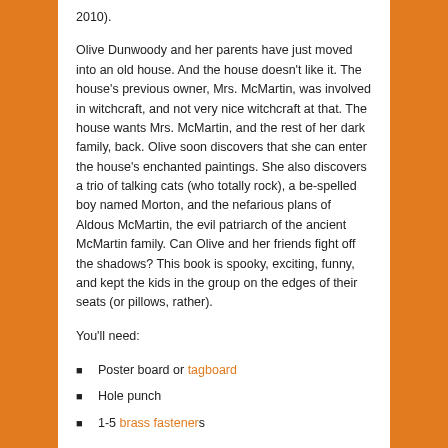2010).
Olive Dunwoody and her parents have just moved into an old house. And the house doesn't like it. The house's previous owner, Mrs. McMartin, was involved in witchcraft, and not very nice witchcraft at that. The house wants Mrs. McMartin, and the rest of her dark family, back. Olive soon discovers that she can enter the house's enchanted paintings. She also discovers a trio of talking cats (who totally rock), a be-spelled boy named Morton, and the nefarious plans of Aldous McMartin, the evil patriarch of the ancient McMartin family. Can Olive and her friends fight off the shadows? This book is spooky, exciting, funny, and kept the kids in the group on the edges of their seats (or pillows, rather).
You'll need:
Poster board or tagboard
Hole punch
1-5 brass fasteners